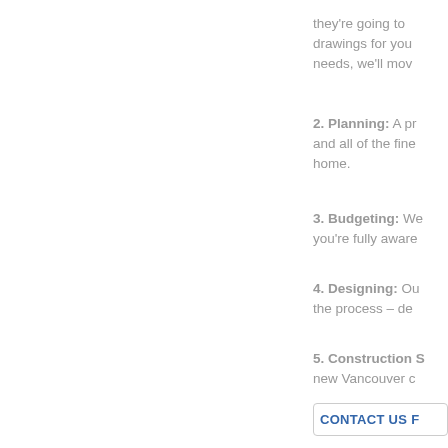they're going to drawings for you needs, we'll mov
2. Planning: A pr and all of the fine home.
3. Budgeting: We you're fully aware
4. Designing: Ou the process – de
5. Construction S new Vancouver c
CONTACT US F